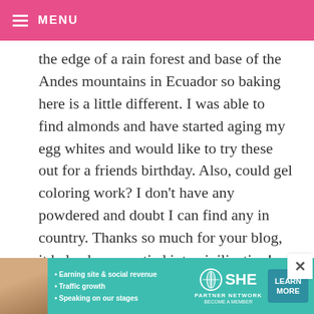≡ MENU
the edge of a rain forest and base of the Andes mountains in Ecuador so baking here is a little different. I was able to find almonds and have started aging my egg whites and would like to try these out for a friends birthday. Also, could gel coloring work? I don't have any powdered and doubt I can find any in country. Thanks so much for your blog, it helps keep me tied into civilization!
[Figure (infographic): SHE Partner Network advertisement banner with photo of woman, bullet points about earning site & social revenue, traffic growth, speaking on our stages, SHE logo, and LEARN MORE button]